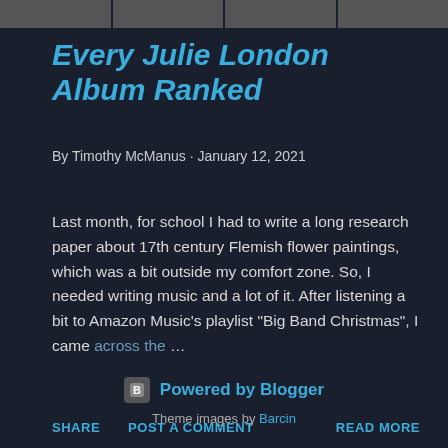[Figure (photo): Strip of four partially visible photos at the top of the page]
Every Julie London Album Ranked
By Timothy McManus · January 12, 2021
Last month, for school I had to write a long research paper about 17th century Flemish flower paintings, which was a bit outside my comfort zone. So, I needed writing music and a lot of it. After listening a bit to Amazon Music's playlist "Big Band Christmas", I came across the …
SHARE   POST A COMMENT   READ MORE
Powered by Blogger
Theme images by Barcin